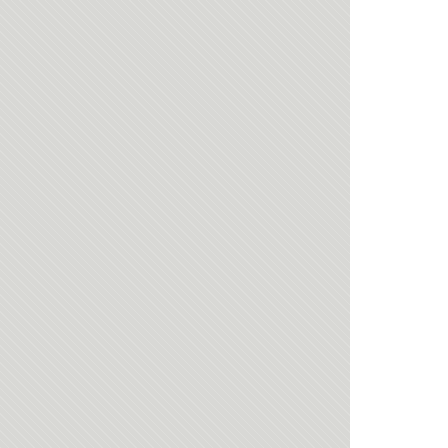[Figure (photo): Left panel: large light gray textured background panel]
[Figure (screenshot): Right panel: video thumbnail listing area with multiple video cards. Card 1: TEENFUNS_S... title, 1:55 duration, HUBO source, tags CUTIE, FIRSTTIME, HOR... Card 2: thumbnail of explicit content, CUTE GF DEEPTH... title, 2:00 duration, HUBO source, tags AMATEUR, BIGDICK, BL... Card 3: thumbnail of woman in white top. Card 4: partial thumbnail visible.]